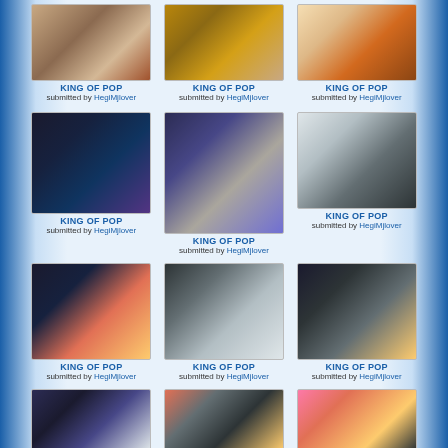[Figure (photo): Photo of King of Pop - Michael Jackson performance]
KING OF POP
submitted by HegiMjlover
[Figure (photo): Photo of King of Pop - Michael Jackson close-up]
KING OF POP
submitted by HegiMjlover
[Figure (photo): Photo of King of Pop - Michael Jackson]
KING OF POP
submitted by HegiMjlover
[Figure (photo): Photo of King of Pop - Michael Jackson in blue outfit]
KING OF POP
submitted by HegiMjlover
[Figure (photo): Photo of King of Pop - Michael Jackson portrait]
KING OF POP
submitted by HegiMjlover
[Figure (photo): Photo of King of Pop - Michael Jackson with crowd]
KING OF POP
submitted by HegiMjlover
[Figure (photo): Photo of King of Pop - Michael Jackson performing]
KING OF POP
submitted by HegiMjlover
[Figure (photo): Photo of King of Pop - Michael Jackson with others]
KING OF POP
submitted by HegiMjlover
[Figure (photo): Photo of King of Pop - Michael Jackson in studded outfit]
KING OF POP
submitted by HegiMjlover
[Figure (photo): Photo of King of Pop - Michael Jackson with hat]
[Figure (photo): Photo of King of Pop - Michael Jackson on stage]
[Figure (photo): Photo of King of Pop - Michael Jackson sunset]